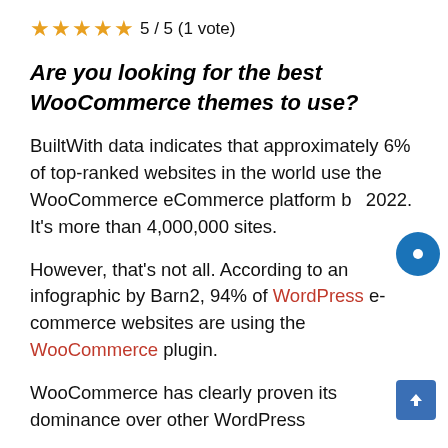[Figure (other): Five orange stars rating with text '5/5 (1 vote)']
Are you looking for the best WooCommerce themes to use?
BuiltWith data indicates that approximately 6% of top-ranked websites in the world use the WooCommerce eCommerce platform by 2022. It's more than 4,000,000 sites.
However, that's not all. According to an infographic by Barn2, 94% of WordPress e-commerce websites are using the WooCommerce plugin.
WooCommerce has clearly proven its dominance over other WordPress